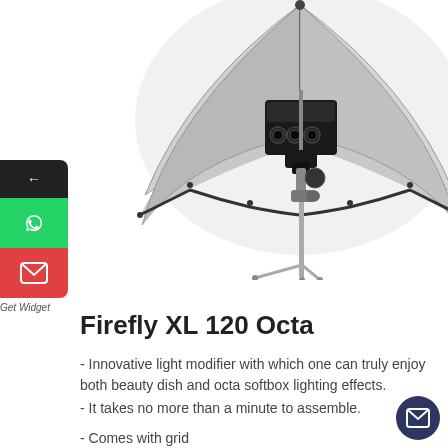[Figure (photo): Photography studio strobe flash light mounted on a light stand with a silver reflective umbrella attached]
Firefly XL 120 Octa
- Innovative light modifier with which one can truly enjoy both beauty dish and octa softbox lighting effects.
- It takes no more than a minute to assemble.
- Comes with grid